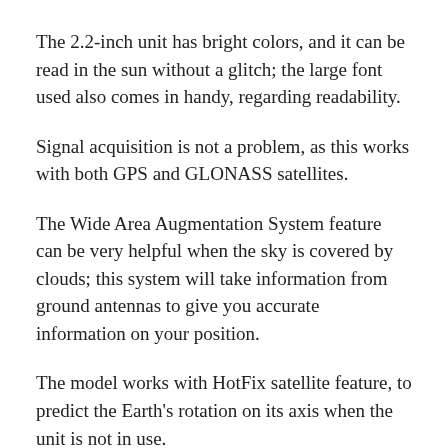The 2.2-inch unit has bright colors, and it can be read in the sun without a glitch; the large font used also comes in handy, regarding readability.
Signal acquisition is not a problem, as this works with both GPS and GLONASS satellites.
The Wide Area Augmentation System feature can be very helpful when the sky is covered by clouds; this system will take information from ground antennas to give you accurate information on your position.
The model works with HotFix satellite feature, to predict the Earth's rotation on its axis when the unit is not in use.
The digital breadcrumb feature comes in handy